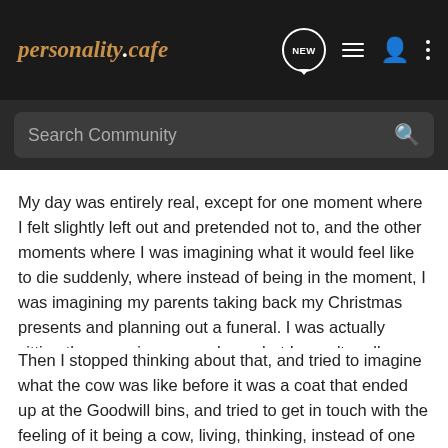personalitycafe — NEW
Search Community
My day was entirely real, except for one moment where I felt slightly left out and pretended not to, and the other moments where I was imagining what it would feel like to die suddenly, where instead of being in the moment, I was imagining my parents taking back my Christmas presents and planning out a funeral. I was actually sitting there sewing some shoes, but I wasn't really there. I was thinking up what might cause the death. I decided it would be something to do with my heart, maybe because of my gum disease, since I've heard that happens.
Then I stopped thinking about that, and tried to imagine what the cow was like before it was a coat that ended up at the Goodwill bins, and tried to get in touch with the feeling of it being a cow, living, thinking, instead of one of those many cuts that